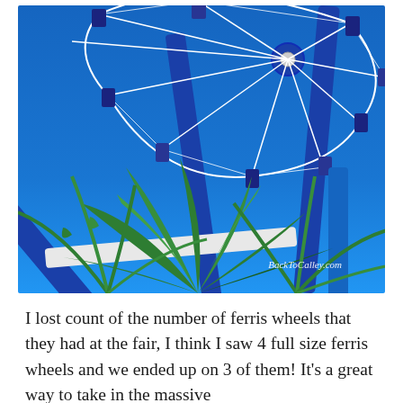[Figure (photo): Upward-angle photograph of a large blue and white ferris wheel against a vivid blue sky, with green palm fronds in the lower foreground. A watermark reads 'BackToCalley.com' in white script at the bottom right.]
I lost count of the number of ferris wheels that they had at the fair, I think I saw 4 full size ferris wheels and we ended up on 3 of them! It's a great way to take in the massive